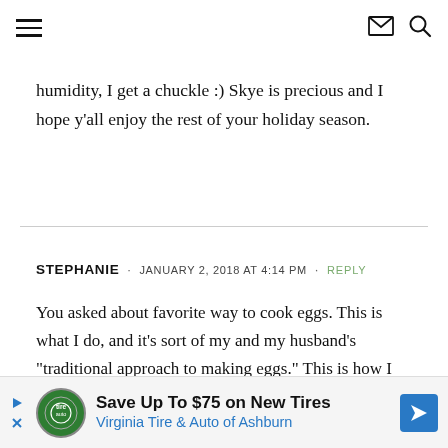[hamburger menu icon] [envelope icon] [search icon]
humidity, I get a chuckle :) Skye is precious and I hope y’all enjoy the rest of your holiday season.
STEPHANIE • JANUARY 2, 2018 AT 4:14 PM • REPLY
You asked about favorite way to cook eggs. This is what I do, and it’s sort of my and my husband’s “traditional approach to making eggs.” This is how I do it for one person:
[Figure (infographic): Advertisement banner: Save Up To $75 on New Tires - Virginia Tire & Auto of Ashburn, with logo and blue arrow icon]